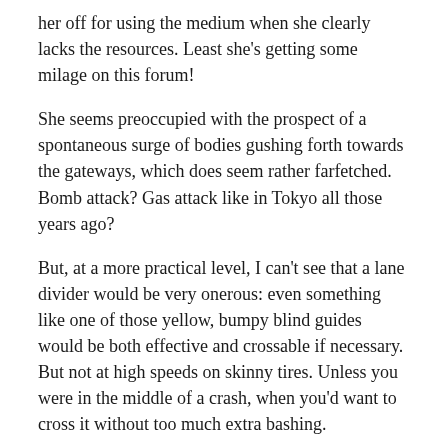her off for using the medium when she clearly lacks the resources. Least she's getting some milage on this forum!
She seems preoccupied with the prospect of a spontaneous surge of bodies gushing forth towards the gateways, which does seem rather farfetched. Bomb attack? Gas attack like in Tokyo all those years ago?
But, at a more practical level, I can't see that a lane divider would be very onerous: even something like one of those yellow, bumpy blind guides would be both effective and crossable if necessary. But not at high speeds on skinny tires. Unless you were in the middle of a crash, when you'd want to cross it without too much extra bashing.
And maybe something less bike-crossable for peds. If the sections are prefabricated it could be incorporated into the mould.
Or does the whole usage concept break down if you start carving up the 4m?